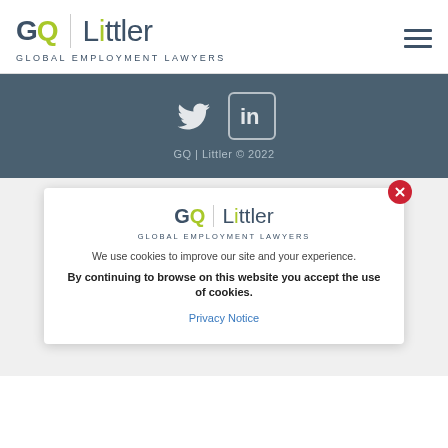[Figure (logo): GQ | Littler logo with 'GLOBAL EMPLOYMENT LAWYERS' tagline in header]
[Figure (logo): Social media icons (Twitter and LinkedIn) with copyright text 'GQ | Littler © 2022' in dark blue-grey bar]
[Figure (logo): GQ | Littler logo with 'GLOBAL EMPLOYMENT LAWYERS' tagline in cookie modal]
We use cookies to improve our site and your experience.
By continuing to browse on this website you accept the use of cookies.
Privacy Notice